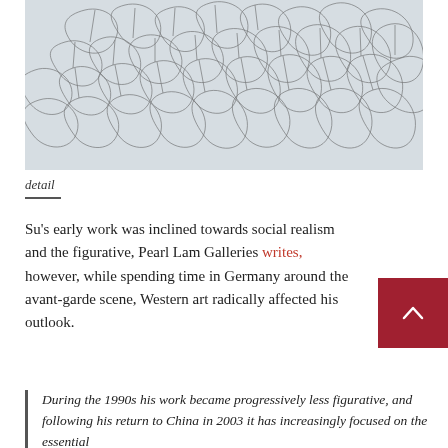[Figure (illustration): Close-up detail of an abstract pencil/ink drawing showing an organic network of irregular cell-like shapes and fine crackled lines on light grey paper.]
detail
Su's early work was inclined towards social realism and the figurative, Pearl Lam Galleries writes, however, while spending time in Germany around the avant-garde scene, Western art radically affected his outlook.
During the 1990s his work became progressively less figurative, and following his return to China in 2003 it has increasingly focused on the essential